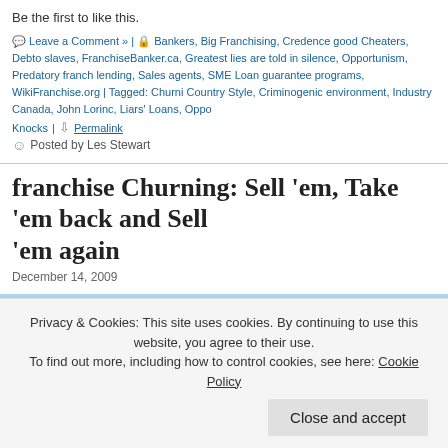Be the first to like this.
Leave a Comment » | Bankers, Big Franchising, Credence good Cheaters, Debt slaves, FranchiseBanker.ca, Greatest lies are told in silence, Opportunism, Predatory franchise lending, Sales agents, SME Loan guarantee programs, WikiFranchise.org | Tagged: Churning, Country Style, Criminogenic environment, Industry Canada, John Lorinc, Liars' Loans, Opportunity Knocks | Permalink
Posted by Les Stewart
franchise Churning: Sell 'em, Take 'em back and Sell 'em again
December 14, 2009
[Figure (illustration): Stylized landscape illustration with yellow sun, green tree silhouettes against a light blue sky background]
Privacy & Cookies: This site uses cookies. By continuing to use this website, you agree to their use.
To find out more, including how to control cookies, see here: Cookie Policy
Close and accept